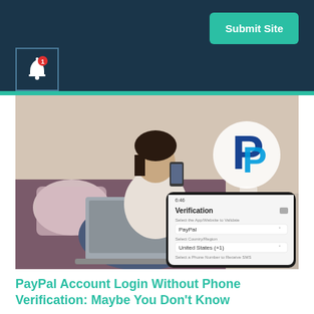Submit Site
[Figure (illustration): Bell notification icon with red badge showing '1' in a dark bordered box on dark navy header background]
[Figure (photo): A woman sitting on a couch holding a smartphone with a laptop on her lap, with PayPal logo overlay and a phone screen showing a 'Verification' dialog with PayPal selected and United States (+1) country, and a 'Select a Phone Number to Receive SMS' field]
PayPal Account Login Without Phone Verification: Maybe You Don't Know
Many owners will not be able to log in to a PayPal account without